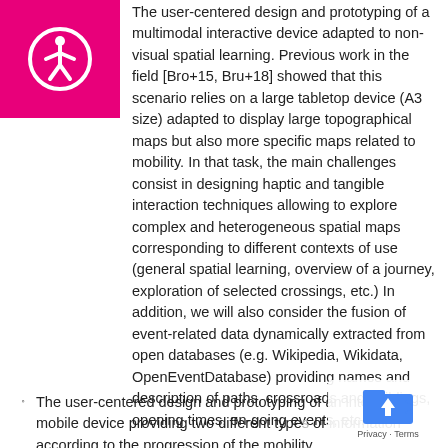[Figure (logo): Pink square with white accessibility/person-in-circle icon]
The user-centered design and prototyping of a multimodal interactive device adapted to non-visual spatial learning. Previous work in the field [Bro+15, Bru+18] showed that this scenario relies on a large tabletop device (A3 size) adapted to display large topographical maps but also more specific maps related to mobility. In that task, the main challenges consist in designing haptic and tangible interaction techniques allowing to explore complex and heterogeneous spatial maps corresponding to different contexts of use (general spatial learning, overview of a journey, exploration of selected crossings, etc.) In addition, we will also consider the fusion of event-related data dynamically extracted from open databases (e.g. Wikipedia, Wikidata, OpenEventDatabase) providing names and description of paths, crossroads and buildings, opening times, on-going events, etc.
The user-centered design and prototyping of an interactive mobile device providing two different types of information according to the progression of the mobility.